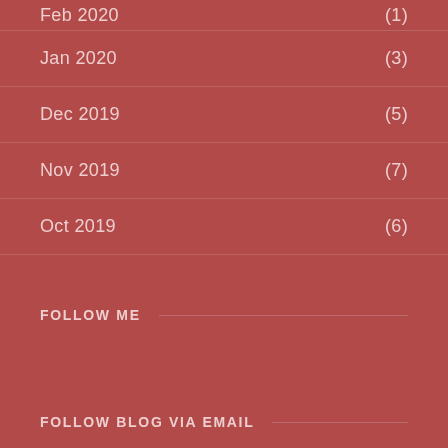Feb 2020  (1)
Jan 2020  (3)
Dec 2019  (5)
Nov 2019  (7)
Oct 2019  (6)
FOLLOW ME
FOLLOW BLOG VIA EMAIL